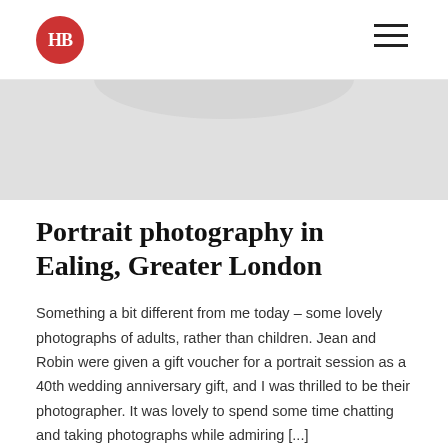HB (logo) with hamburger menu
[Figure (photo): Light grey hero image area with a subtle curved lighter shape at the top center, representing a partially visible photograph.]
Portrait photography in Ealing, Greater London
Something a bit different from me today – some lovely photographs of adults, rather than children. Jean and Robin were given a gift voucher for a portrait session as a 40th wedding anniversary gift, and I was thrilled to be their photographer. It was lovely to spend some time chatting and taking photographs while admiring [...]